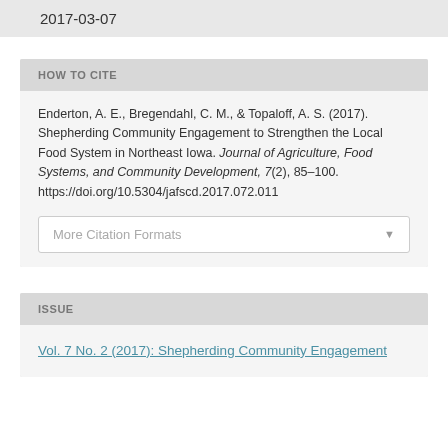2017-03-07
HOW TO CITE
Enderton, A. E., Bregendahl, C. M., & Topaloff, A. S. (2017). Shepherding Community Engagement to Strengthen the Local Food System in Northeast Iowa. Journal of Agriculture, Food Systems, and Community Development, 7(2), 85–100. https://doi.org/10.5304/jafscd.2017.072.011
More Citation Formats
ISSUE
Vol. 7 No. 2 (2017): Shepherding Community Engagement